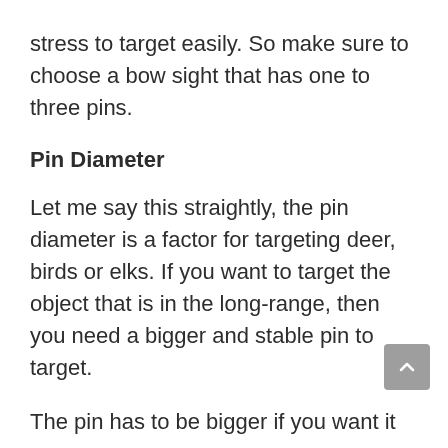stress to target easily. So make sure to choose a bow sight that has one to three pins.
Pin Diameter
Let me say this straightly, the pin diameter is a factor for targeting deer, birds or elks. If you want to target the object that is in the long-range, then you need a bigger and stable pin to target.
The pin has to be bigger if you want it